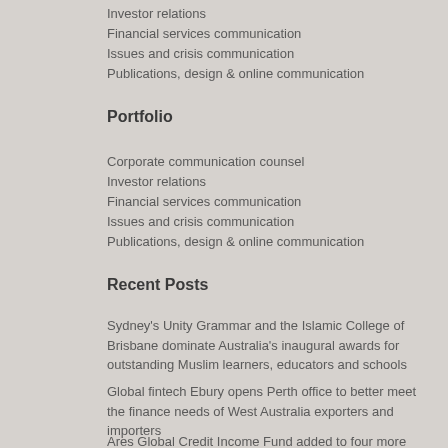Investor relations
Financial services communication
Issues and crisis communication
Publications, design & online communication
Portfolio
Corporate communication counsel
Investor relations
Financial services communication
Issues and crisis communication
Publications, design & online communication
Recent Posts
Sydney's Unity Grammar and the Islamic College of Brisbane dominate Australia's inaugural awards for outstanding Muslim learners, educators and schools
Global fintech Ebury opens Perth office to better meet the finance needs of West Australia exporters and importers
Ares Global Credit Income Fund added to four more